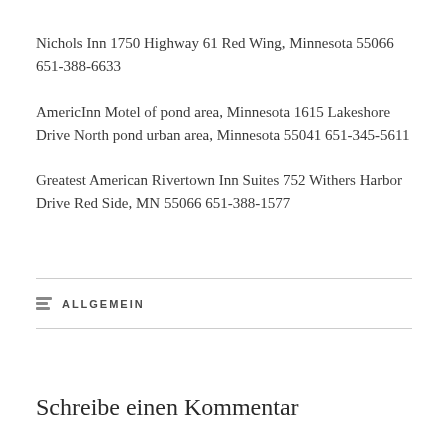Nichols Inn 1750 Highway 61 Red Wing, Minnesota 55066 651-388-6633
AmericInn Motel of pond area, Minnesota 1615 Lakeshore Drive North pond urban area, Minnesota 55041 651-345-5611
Greatest American Rivertown Inn Suites 752 Withers Harbor Drive Red Side, MN 55066 651-388-1577
ALLGEMEIN
Schreibe einen Kommentar